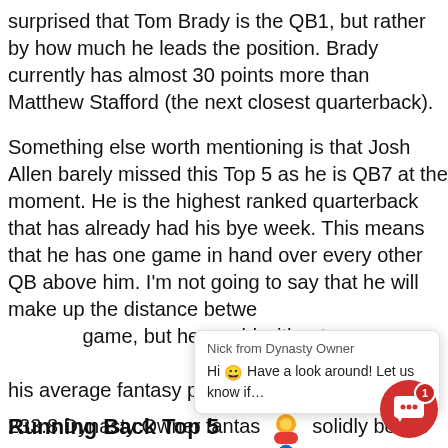surprised that Tom Brady is the QB1, but rather by how much he leads the position. Brady currently has almost 30 points more than Matthew Stafford (the next closest quarterback).
Something else worth mentioning is that Josh Allen barely missed this Top 5 as he is QB7 at the moment. He is the highest ranked quarterback that has already had his bye week. This means that he has one game in hand over every other QB above him. I'm not going to say that he will make up the distance between him and Brady in a single game, but he would without a doubt narrow the gap with his average fantasy points per game. Allen is averaging 233.8 Dynasty Owner fantasy points per game. He would solidly be the QB2. Just something to keep in mind for those of you Dynasty Owners with Allen on your roster. Bye weeks tend to skew total points.
[Figure (other): Chat popup overlay with 'Nick from Dynasty Owner' header, smiley emoji, and message 'Hi Have a look around! Let us know if...']
[Figure (illustration): Circular red chat button with white chat bubble icon and red badge showing '1']
Running Back Top 5